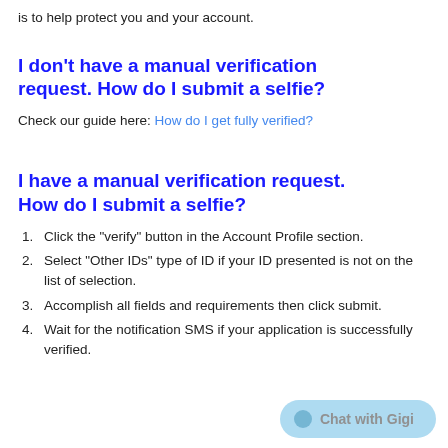is to help protect you and your account.
I don't have a manual verification request. How do I submit a selfie?
Check our guide here: How do I get fully verified?
I have a manual verification request. How do I submit a selfie?
1. Click the "verify" button in the Account Profile section.
2. Select "Other IDs" type of ID if your ID presented is not on the list of selection.
3. Accomplish all fields and requirements then click submit.
4. Wait for the notification SMS if your application is successfully verified.